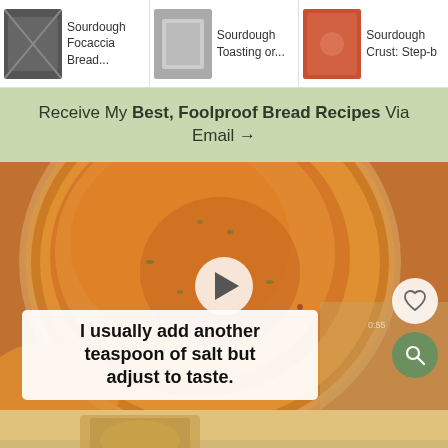[Figure (screenshot): Top thumbnail strip showing three recipe thumbnails: Sourdough Focaccia Bread, Sourdough Toasting or..., Sourdough Crust: Step-b]
Receive My Best, Foolproof Bread Recipes Via Email →
[Figure (screenshot): Video thumbnail showing orange/tomato soup in a glass jar with a white play button overlay. Text caption reads: I usually add another teaspoon of salt but adjust to taste. Heart and search icons on the right side.]
I usually add another teaspoon of salt but adjust to taste.
[Figure (photo): Bottom partial photo showing bread/food item]